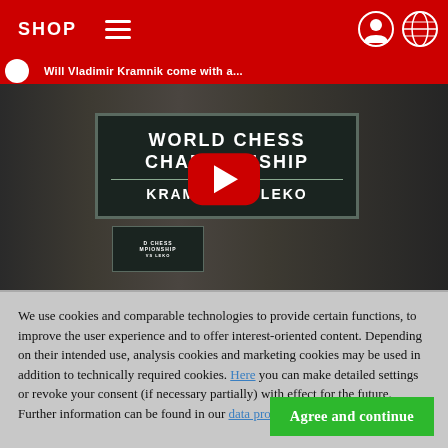SHOP
[Figure (screenshot): YouTube video thumbnail showing two chess players (Kramnik and Leko) smiling in front of a 'World Chess Championship Kramnik vs Leko' sign, with a YouTube play button overlay. Partially visible title text: 'Will Vladimir Kramnik come with a...']
We use cookies and comparable technologies to provide certain functions, to improve the user experience and to offer interest-oriented content. Depending on their intended use, analysis cookies and marketing cookies may be used in addition to technically required cookies. Here you can make detailed settings or revoke your consent (if necessary partially) with effect for the future. Further information can be found in our data protection declaration.